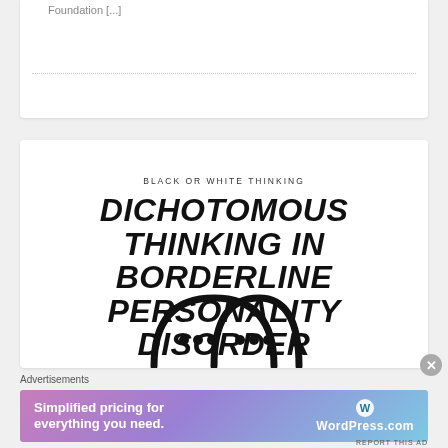Foundation [...]
[Figure (illustration): Promotional image for an article titled 'Dichotomous Thinking in Borderline Personality Disorder' with subtitle 'BLACK OR WHITE THINKING' and two cartoon face icons at the bottom]
Advertisements
[Figure (screenshot): WordPress.com advertisement banner: 'Simplified pricing for everything you need.' with WordPress.com logo on gradient background]